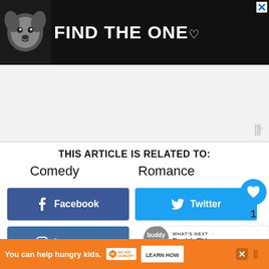[Figure (other): Advertisement banner: black background with dog image and white bold text 'FIND THE ONE' with heart icon, close button top-right]
[Figure (other): Grey advertisement placeholder area with Moat watermark logo in bottom right]
THIS ARTICLE IS RELATED TO:
Comedy
Romance
[Figure (other): Facebook share button (dark blue with f icon)]
[Figure (other): Twitter share button (light blue with bird icon)]
[Figure (other): Instagram share button (medium blue with Instagram icon)]
[Figure (other): Bottom advertisement: orange bar with 'You can help hungry kids.' No Kid Hungry logo and LEARN HOW button]
[Figure (other): Floating heart/like button (blue circle, count: 1) and share button]
[Figure (other): WHAT'S NEXT BuddyTV badge/pill]